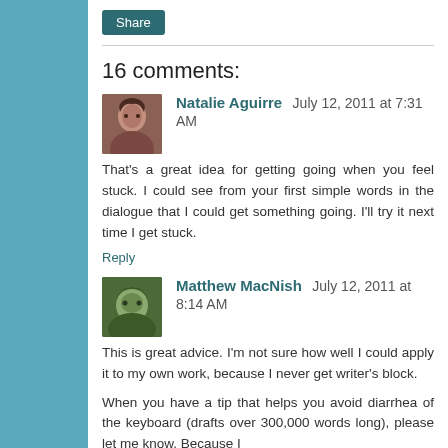Share
16 comments:
Natalie Aguirre  July 12, 2011 at 7:31 AM
That's a great idea for getting going when you feel stuck. I could see from your first simple words in the dialogue that I could get something going. I'll try it next time I get stuck.
Reply
Matthew MacNish  July 12, 2011 at 8:14 AM
This is great advice. I'm not sure how well I could apply it to my own work, because I never get writer's block.
When you have a tip that helps you avoid diarrhea of the keyboard (drafts over 300,000 words long), please let me know. Because I